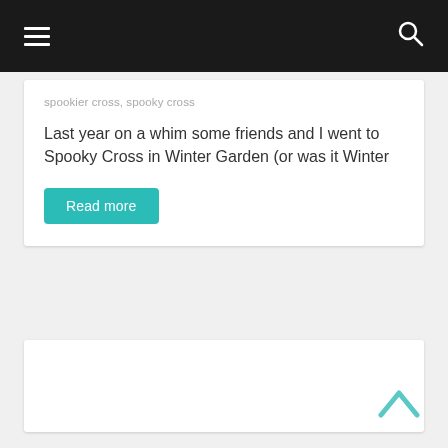☰  [menu]  [search]
spookier cross,  spooky cross
Last year on a whim some friends and I went to Spooky Cross in Winter Garden (or was it Winter
Read more